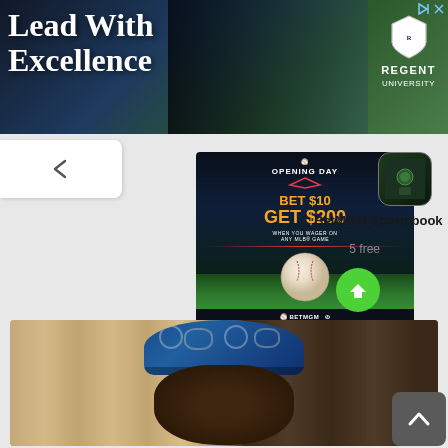[Figure (screenshot): Banner advertisement for Regent University with text 'Lead With Excellence' and graduation photo background with Regent University logo]
[Figure (screenshot): BetMGM Sportsbook advertisement showing 'Opening Day - Bet $10 Get $200 when you wager on any MLB game' with a baseball image and BetMGM/MLB logos]
BetMGM Sportsbook
5 free
[Figure (screenshot): Green circular download button with white downward arrow]
[Figure (photo): Photo of a man wearing a decorative blue and gold hat/cap with floral/leaf patterns, against a light background with curtains]